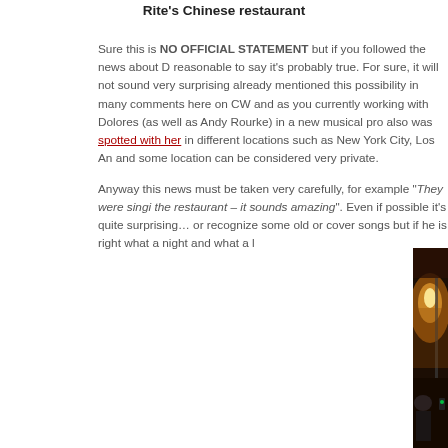Rite's Chinese restaurant
Sure this is NO OFFICIAL STATEMENT but if you followed the news about D reasonable to say it's probably true. For sure, it will not sound very surprising already mentioned this possibility in many comments here on CW and as you currently working with Dolores (as well as Andy Rourke) in a new musical pro also was spotted with her in different locations such as New York City, Los An and some location can be considered very private.
Anyway this news must be taken very carefully, for example “They were singi the restaurant – it sounds amazing”. Even if possible it’s quite surprising… or recognize some old or cover songs but if he is right what a night and what a l
[Figure (photo): Nighttime outdoor photo showing two people (a person wearing a grey beanie hat and another person) on a street with a bright glowing streetlight visible in the background against dark orange-lit sky.]